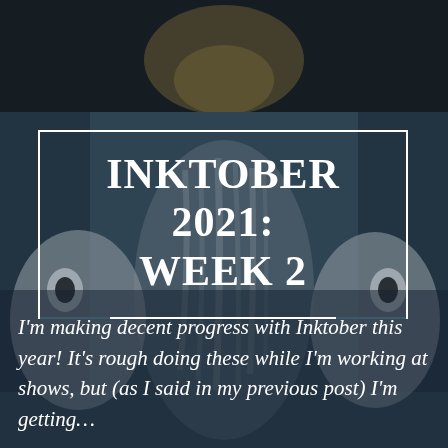[Figure (illustration): Anime-style illustration of ghost-like figures with dark teal/grey tones. Top portion is very dark (near black) with a faint warm glow. Lower portion shows stylized ghost characters with fabric-like hair strands and large dark eyes, rendered in muted blue-grey and white tones.]
INKTOBER 2021: WEEK 2
I'm making decent progress with Inktober this year! It's rough doing these while I'm working at shows, but (as I said in my previous post) I'm getting…